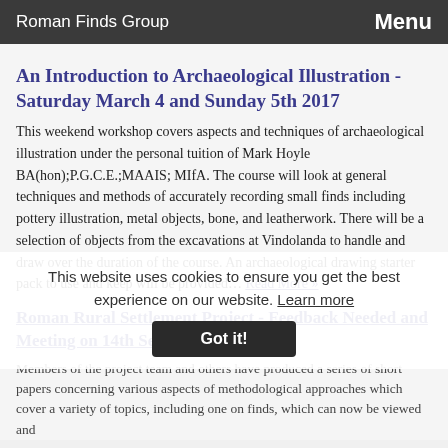Roman Finds Group | Menu
An Introduction to Archaeological Illustration - Saturday March 4 and Sunday 5th 2017
This weekend workshop covers aspects and techniques of archaeological illustration under the personal tuition of Mark Hoyle BA(hon);P.G.C.E.;MAAIS; MIfA. The course will look at general techniques and methods of accurately recording small finds including pottery illustration, metal objects, bone, and leatherwork. There will be a selection of objects from the excavations at Vindolanda to handle and draw over the duration of the course. An archaeological drawing starter pack to use and keep will be provided… Read More »
Roman Rural Settlement Project - Feedback Needed and Meeting on 14th September 2016
Members of the project team and others have produced a series of short papers concerning various aspects of methodological approaches which cover a variety of topics, including one on finds, which can now be viewed and
This website uses cookies to ensure you get the best experience on our website. Learn more